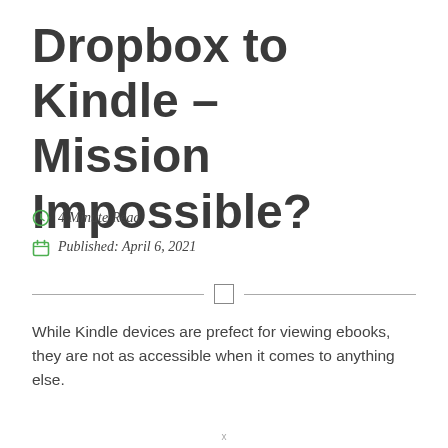Dropbox to Kindle – Mission Impossible?
4 Minute Read
Published: April 6, 2021
While Kindle devices are prefect for viewing ebooks, they are not as accessible when it comes to anything else.